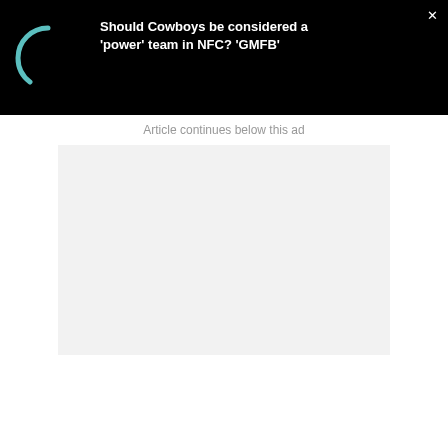[Figure (screenshot): Video player bar with black background, teal loading spinner on left, and white text title on right. Close X button top-right corner.]
Should Cowboys be considered a 'power' team in NFC? 'GMFB'
Article continues below this ad
[Figure (other): Light gray advertisement placeholder rectangle]